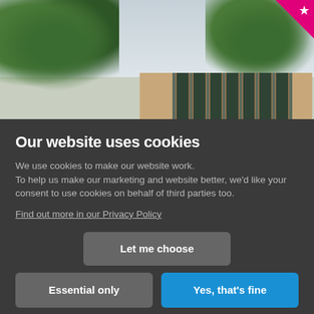[Figure (photo): Photograph of a modern building with glass facade and wooden cladding, surrounded by trees with a light sky background. A pink badge/icon is visible in the top-right corner.]
Our website uses cookies
We use cookies to make our website work. To help us make our marketing and website better, we'd like your consent to use cookies on behalf of third parties too.
Find out more in our Privacy Policy
Let me choose
Essential only
Yes, that's fine